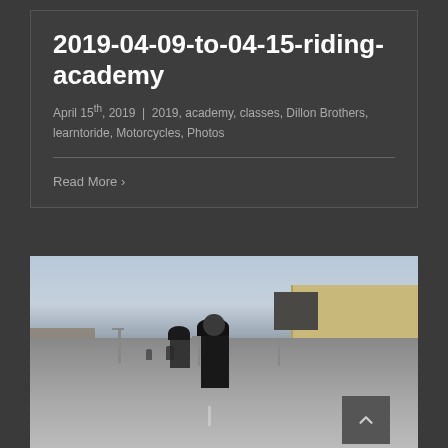2019-04-09-to-04-15-riding-academy
April 15th, 2019  |  2019, academy, classes, Dillon Brothers, learntoride, Motorcycles, Photos
Read More ›
[Figure (photo): Motorcyclists riding in a parking lot or road area with commercial buildings in the background, overcast sky, taken during a riding academy session.]